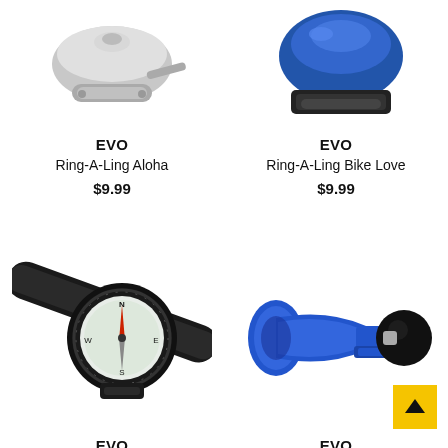[Figure (photo): EVO Ring-A-Ling Aloha bicycle bell, silver/chrome handlebar mount, top view]
EVO
Ring-A-Ling Aloha
$9.99
[Figure (photo): EVO Ring-A-Ling Bike Love bicycle bell, blue dome, black mount]
EVO
Ring-A-Ling Bike Love
$9.99
[Figure (photo): EVO Ringer Compass bicycle accessory, black compass mounted on handlebars]
EVO
Ringer Compass
[Figure (photo): EVO Trumpetior Horn bicycle horn, blue trumpet shape with black bulb squeeze horn]
EVO
Trumpetion Horn